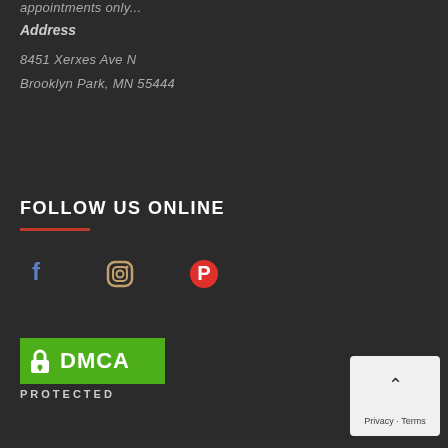appointments only...
Address
8451 Xerxes Ave N
Brooklyn Park, MN 55444
FOLLOW US ONLINE
[Figure (infographic): Social media icons: Facebook (blue f), Instagram (camera), Pinterest (red P)]
[Figure (logo): DMCA PROTECTED badge with green background, lock icon, and text DMCA PROTECTED below]
Privacy - Terms